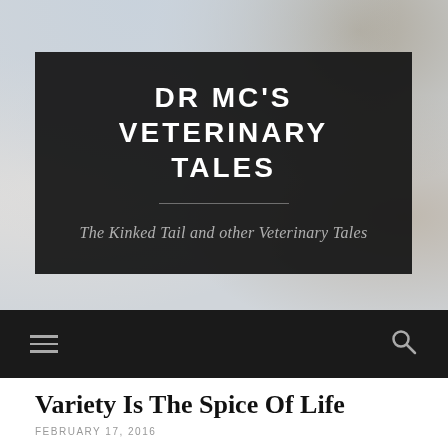[Figure (photo): Blurred background photo showing medical/veterinary setting with white coats and bokeh effect]
DR MC'S VETERINARY TALES
The Kinked Tail and other Veterinary Tales
Navigation bar with hamburger menu and search icon
Variety Is The Spice Of Life
FEBRUARY 17, 2016